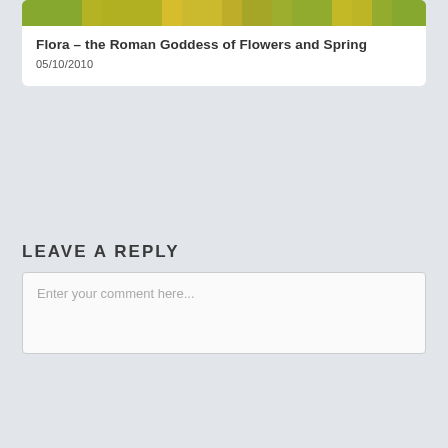[Figure (photo): Cropped top of a photo showing yellow flowers/foliage]
Flora – the Roman Goddess of Flowers and Spring
05/10/2010
LEAVE A REPLY
Enter your comment here...